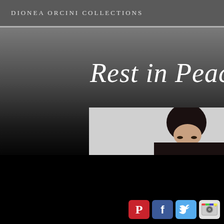DIONEA ORCINI COLLECTIONS
Rest in Peace L'Wren S
[Figure (photo): Partial photo of a woman with dark hair visible above a light-colored horizontal strip, partially obscured by overlapping dark gradient.]
[Figure (infographic): Row of four social media icons: Pinterest (red P), Facebook (blue f), Twitter (blue bird), Instagram (camera).]